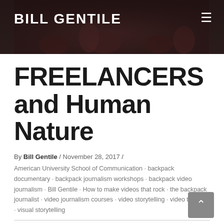BILL GENTILE
[Figure (photo): Dark background header photo of people at an event, with navigation bar overlay showing BILL GENTILE site logo and hamburger menu icon]
FREELANCERS and Human Nature
By Bill Gentile / November 28, 2017 /
American University School of Communication · backpack documentary · backpack journalism workshops · backpack video journalism · Bill Gentile · How to make videos that rock · the backpack journalist · video journalism courses · video storytelling · video training · visual storytelling
WASHINGTON, DC, Day 23 of 40 — Freelance foreign correspondent David Agren uses a cell phone